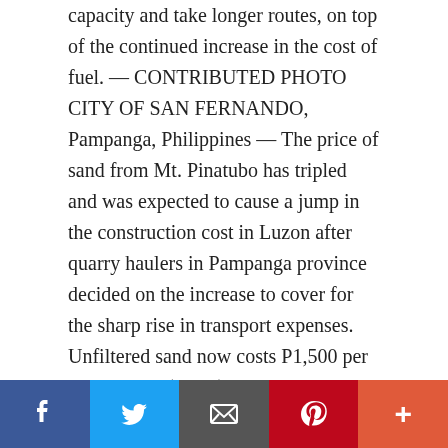capacity and take longer routes, on top of the continued increase in the cost of fuel. — CONTRIBUTED PHOTO CITY OF SAN FERNANDO, Pampanga, Philippines — The price of sand from Mt. Pinatubo has tripled and was expected to cause a jump in the construction cost in Luzon after quarry haulers in Pampanga province decided on the increase to cover for the sharp rise in transport expenses. Unfiltered sand now costs P1,500 per cubic meter (cu. m) in Luzon, mostly bound for the construction market in Metro Manila, as of Aug. 19 from the previous price of P550 per cu. m due to hauling trucks' load reduction and longer shipment routes, on top of … [Read more...]
[Figure (other): Social media sharing bar with Facebook (blue), Twitter (light blue), Email (dark gray), Pinterest (red), and More/Plus (orange-red) buttons]